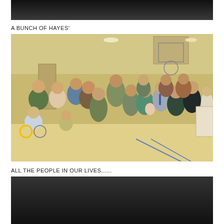[Figure (photo): Top portion of a photo, mostly dark/dimly lit scene, cropped at top of page]
A BUNCH OF HAYES'
[Figure (photo): Group photo of approximately 15-20 people of various ages including adults, children, and a person in a wheelchair, posed together in what appears to be a gymnasium or community center with a basketball hoop visible in the background]
ALL THE PEOPLE IN OUR LIVES......
[Figure (photo): Bottom photo, partially visible, dark tones, beginning of another image]